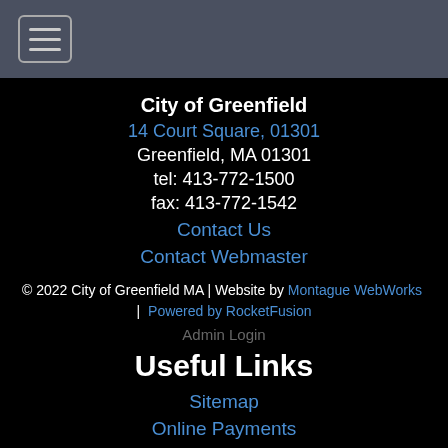[Figure (other): Dark gray header bar with hamburger menu icon (three horizontal lines) in a rounded rectangle]
City of Greenfield
14 Court Square, 01301
Greenfield, MA 01301
tel: 413-772-1500
fax: 413-772-1542
Contact Us
Contact Webmaster
© 2022 City of Greenfield MA | Website by Montague WebWorks | Powered by RocketFusion
Admin Login
Useful Links
Sitemap
Online Payments
Permits
Announcements